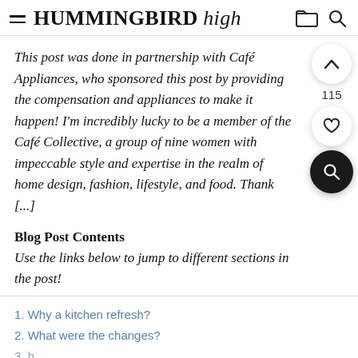HUMMINGBIRD high
This post was done in partnership with Café Appliances, who sponsored this post by providing the compensation and appliances to make it happen! I'm incredibly lucky to be a member of the Café Collective, a group of nine women with impeccable style and expertise in the realm of home design, fashion, lifestyle, and food. Thank [...]
Blog Post Contents
Use the links below to jump to different sections in the post!
1. Why a kitchen refresh?
2. What were the changes?
3. [partially visible]